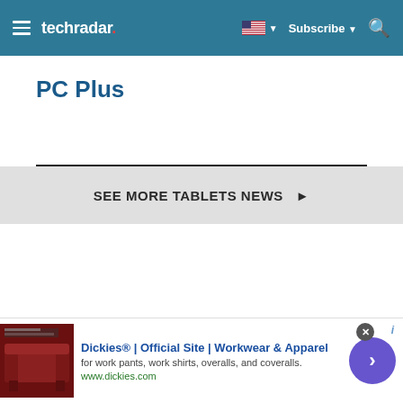techradar
PC Plus
SEE MORE TABLETS NEWS ▶
[Figure (infographic): Advertisement banner for Dickies® | Official Site | Workwear & Apparel. Shows a red furniture/couch image on the left, ad text in the center, and a purple arrow button on the right.]